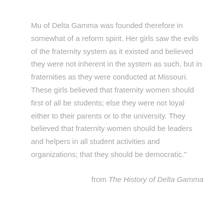Mu of Delta Gamma was founded therefore in somewhat of a reform spirit. Her girls saw the evils of the fraternity system as it existed and believed they were not inherent in the system as such, but in fraternities as they were conducted at Missouri. These girls believed that fraternity women should first of all be students; else they were not loyal either to their parents or to the university. They believed that fraternity women should be leaders and helpers in all student activities and organizations; that they should be democratic."
from The History of Delta Gamma